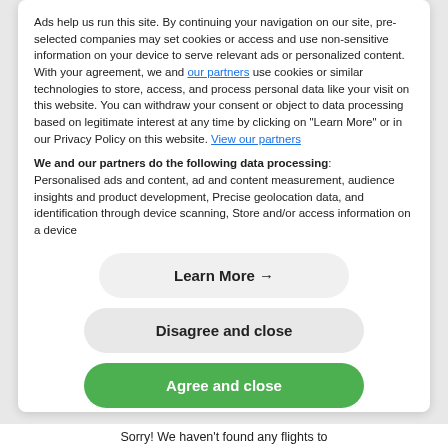Ads help us run this site. By continuing your navigation on our site, pre-selected companies may set cookies or access and use non-sensitive information on your device to serve relevant ads or personalized content.
With your agreement, we and our partners use cookies or similar technologies to store, access, and process personal data like your visit on this website. You can withdraw your consent or object to data processing based on legitimate interest at any time by clicking on "Learn More" or in our Privacy Policy on this website. View our partners
We and our partners do the following data processing:
Personalised ads and content, ad and content measurement, audience insights and product development, Precise geolocation data, and identification through device scanning, Store and/or access information on a device
Learn More →
Disagree and close
Agree and close
Sorry! We haven't found any flights to